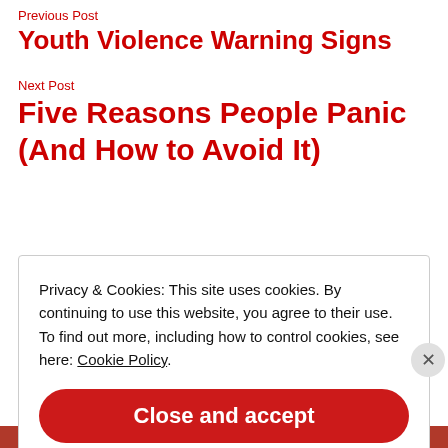Previous Post
Youth Violence Warning Signs
Next Post
Five Reasons People Panic (And How to Avoid It)
Privacy & Cookies: This site uses cookies. By continuing to use this website, you agree to their use. To find out more, including how to control cookies, see here: Cookie Policy
Close and accept